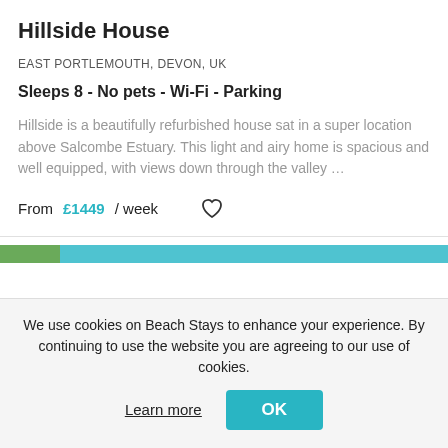Hillside House
EAST PORTLEMOUTH, DEVON, UK
Sleeps 8 - No pets - Wi-Fi - Parking
Hillside is a beautifully refurbished house sat in a super location above Salcombe Estuary. This light and airy home is spacious and well equipped, with views down through the valley …
From £1449 / week
We use cookies on Beach Stays to enhance your experience. By continuing to use the website you are agreeing to our use of cookies.
Learn more
OK